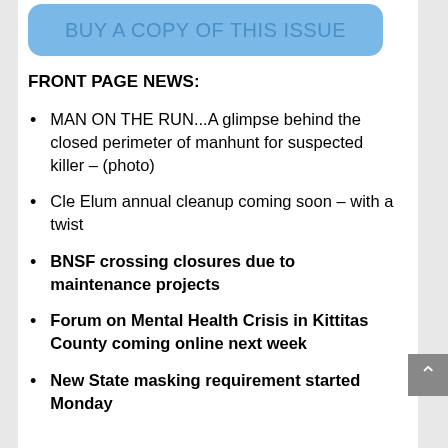[Figure (other): Blue rounded rectangle button with text 'BUY A COPY OF THIS ISSUE']
FRONT PAGE NEWS:
MAN ON THE RUN...A glimpse behind the closed perimeter of manhunt for suspected killer – (photo)
Cle Elum annual cleanup coming soon – with a twist
BNSF crossing closures due to maintenance projects
Forum on Mental Health Crisis in Kittitas County coming online next week
New State masking requirement started Monday